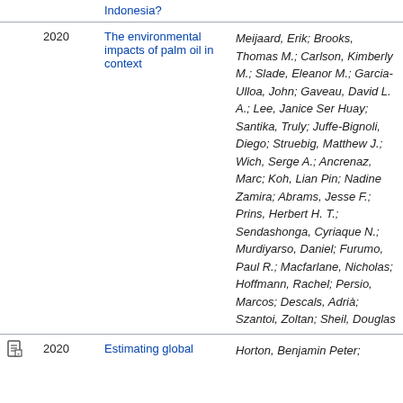|  | Year | Title | Authors |
| --- | --- | --- | --- |
|  |  | Indonesia? |  |
|  | 2020 | The environmental impacts of palm oil in context | Meijaard, Erik; Brooks, Thomas M.; Carlson, Kimberly M.; Slade, Eleanor M.; Garcia-Ulloa, John; Gaveau, David L. A.; Lee, Janice Ser Huay; Santika, Truly; Juffe-Bignoli, Diego; Struebig, Matthew J.; Wich, Serge A.; Ancrenaz, Marc; Koh, Lian Pin; Nadine Zamira; Abrams, Jesse F.; Prins, Herbert H. T.; Sendashonga, Cyriaque N.; Murdiyarso, Daniel; Furumo, Paul R.; Macfarlane, Nicholas; Hoffmann, Rachel; Persio, Marcos; Descals, Adrià; Szantoi, Zoltan; Sheil, Douglas |
| [icon] | 2020 | Estimating global | Horton, Benjamin Peter; |